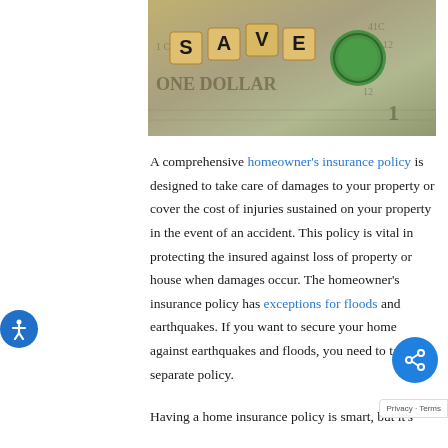[Figure (photo): Photo of Scrabble tiles spelling SAVE on top of US dollar bills, with a green circle (likely a coin or seal) visible]
A comprehensive homeowner's insurance policy is designed to take care of damages to your property or cover the cost of injuries sustained on your property in the event of an accident. This policy is vital in protecting the insured against loss of property or house when damages occur. The homeowner's insurance policy has exceptions for floods and earthquakes. If you want to secure your home against earthquakes and floods, you need to take a separate policy.
Having a home insurance policy is smart, but it's